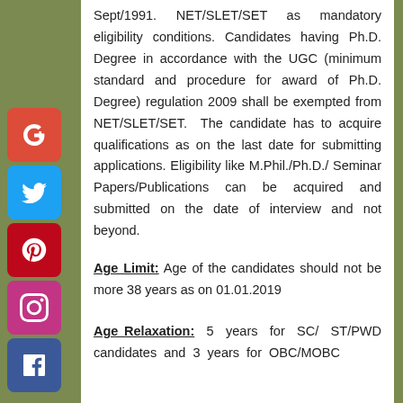Sept/1991. NET/SLET/SET as mandatory eligibility conditions. Candidates having Ph.D. Degree in accordance with the UGC (minimum standard and procedure for award of Ph.D. Degree) regulation 2009 shall be exempted from NET/SLET/SET. The candidate has to acquire qualifications as on the last date for submitting applications. Eligibility like M.Phil./Ph.D./ Seminar Papers/Publications can be acquired and submitted on the date of interview and not beyond.
Age Limit: Age of the candidates should not be more 38 years as on 01.01.2019
Age Relaxation: 5 years for SC/ ST/PWD candidates and 3 years for OBC/MOBC